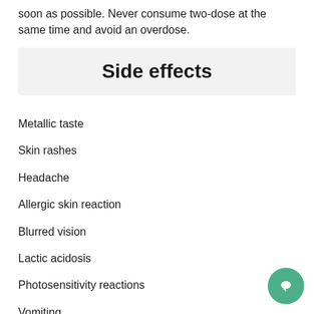soon as possible. Never consume two-dose at the same time and avoid an overdose.
Side effects
Metallic taste
Skin rashes
Headache
Allergic skin reaction
Blurred vision
Lactic acidosis
Photosensitivity reactions
Vomiting
Nausea
Dizziness
Diarrhea